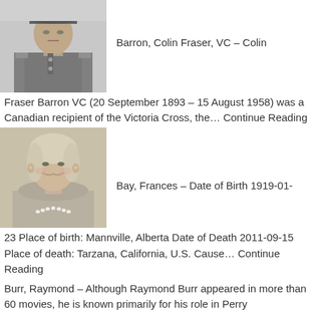[Figure (photo): Black and white portrait photo of Colin Fraser Barron in military uniform with cap]
Barron, Colin Fraser, VC – Colin
Fraser Barron VC (20 September 1893 – 15 August 1958) was a Canadian recipient of the Victoria Cross, the… Continue Reading
[Figure (photo): Sepia/black and white portrait photo of Frances Bay, an elderly woman smiling, wearing pearl necklace]
Bay, Frances – Date of Birth 1919-01-
23 Place of birth: Mannville, Alberta Date of Death 2011-09-15 Place of death: Tarzana, California, U.S. Cause… Continue Reading
Burr, Raymond – Although Raymond Burr appeared in more than 60 movies, he is known primarily for his role in Perry Mason… Continue Reading